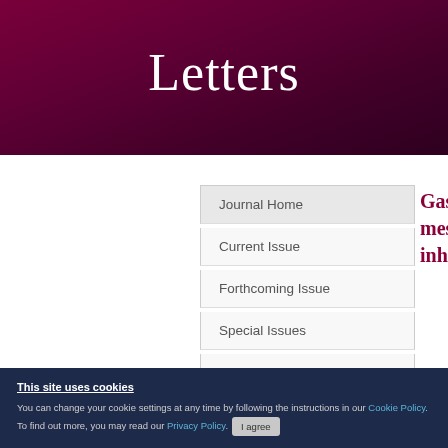Letters
Journal Home
Current Issue
Forthcoming Issue
Special Issues
Most Read
Gastri mesen inhibi
This site uses cookies
You can change your cookie settings at any time by following the instructions in our Cookie Policy. To find out more, you may read our Privacy Policy. I agree